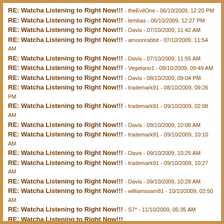RE: Watcha Listening to Right Now!!! - theEvilOne - 06/10/2009, 12:20 PM
RE: Watcha Listening to Right Now!!! - lembas - 06/10/2009, 12:27 PM
RE: Watcha Listening to Right Now!!! - Davis - 07/10/2009, 11:42 AM
RE: Watcha Listening to Right Now!!! - amoonrabbit - 07/10/2009, 11:54 AM
RE: Watcha Listening to Right Now!!! - Davis - 07/10/2009, 11:55 AM
RE: Watcha Listening to Right Now!!! - Vegetano1 - 08/10/2009, 09:49 AM
RE: Watcha Listening to Right Now!!! - Davis - 08/10/2009, 09:04 PM
RE: Watcha Listening to Right Now!!! - trademark91 - 08/10/2009, 09:26 PM
RE: Watcha Listening to Right Now!!! - trademark91 - 09/10/2009, 02:08 AM
RE: Watcha Listening to Right Now!!! - Davis - 09/10/2009, 10:08 AM
RE: Watcha Listening to Right Now!!! - trademark91 - 09/10/2009, 10:10 AM
RE: Watcha Listening to Right Now!!! - Davis - 09/10/2009, 10:25 AM
RE: Watcha Listening to Right Now!!! - trademark91 - 09/10/2009, 10:27 AM
RE: Watcha Listening to Right Now!!! - Davis - 09/10/2009, 10:28 AM
RE: Watcha Listening to Right Now!!! - williamssam81 - 10/10/2009, 02:50 AM
RE: Watcha Listening to Right Now!!! - S7* - 11/10/2009, 05:35 AM
RE: Watcha Listening to Right Now!!!